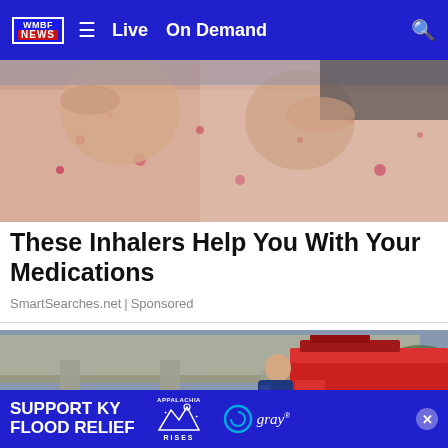WMBF NEWS | Live | On Demand
[Figure (photo): Close-up photo of a person wearing a floral patterned shirt with hands raised near face]
These Inhalers Help You With Your Medications
SmartSearches.net | Sponsored
[Figure (photo): Flood scene with a fire truck and first responder near flooded area under a bridge]
SUPPORT KY FLOOD RELIEF | APPALACHIA RISES | gray